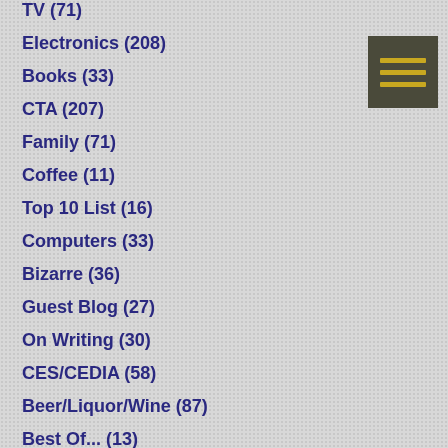TV (71)
Electronics (208)
Books (33)
CTA (207)
Family (71)
Coffee (11)
Top 10 List (16)
Computers (33)
Bizarre (36)
Guest Blog (27)
On Writing (30)
CES/CEDIA (58)
Beer/Liquor/Wine (87)
Best Of... (13)
Feb 2010 (4)
Mar 2010 (39)
April 2010 (30)
May 2010 (36)
[Figure (other): Hamburger menu icon with three horizontal golden/yellow lines on dark olive/gray background]